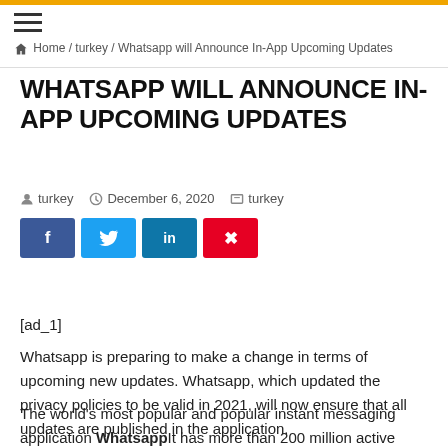Home / turkey / Whatsapp will Announce In-App Upcoming Updates
WHATSAPP WILL ANNOUNCE IN-APP UPCOMING UPDATES
turkey   December 6, 2020   turkey
[ad_1]
Whatsapp is preparing to make a change in terms of upcoming new updates. Whatsapp, which updated the privacy policies to be valid in 2021, will now ensure that all updates are published in the application.
The world's most popular and popular instant messaging application WhatsappIt has more than 200 million active users and this number is increasing day by day. Especially updated and constantly updated